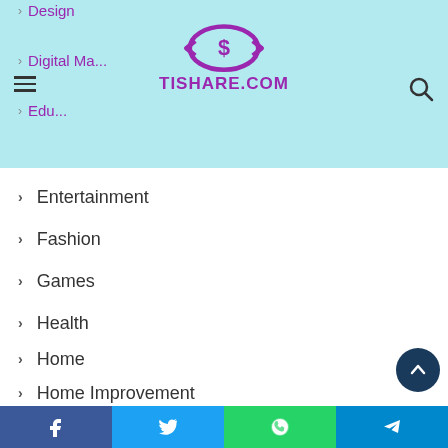Tishare.com navigation header with logo and menu
Design
Digital Ma...
Edu...
Entertainment
Fashion
Games
Health
Home
Home Improvement
Law
Lifestyle
News
Online Shoping
Pet
Social share bar: Facebook, Twitter, WhatsApp, Telegram